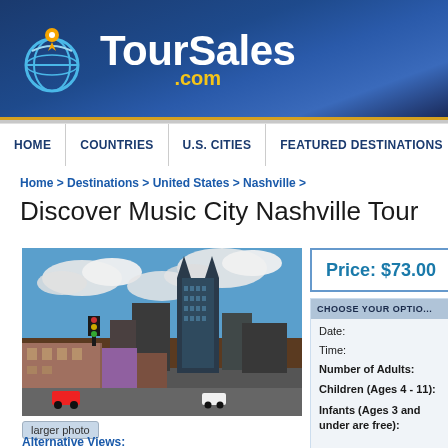[Figure (logo): TourSales.com logo with globe icon and location pin, white and yellow text on dark blue background]
HOME | COUNTRIES | U.S. CITIES | FEATURED DESTINATIONS | TRAVE...
Home > Destinations > United States > Nashville >
Discover Music City Nashville Tour
[Figure (photo): Street scene of Nashville showing tall AT&T Building skyscraper, historic brick buildings on Broadway, traffic lights, and parked cars under blue cloudy sky]
larger photo
Alternative Views:
Price: $73.00
CHOOSE YOUR OPTIO...
Date:
Time:
Number of Adults:
Children (Ages 4 - 11):
Infants (Ages 3 and under are free):